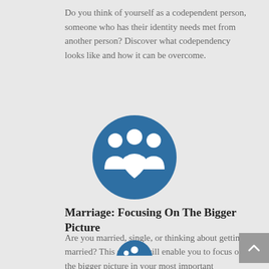Do you think of yourself as a codependent person, someone who has their identity needs met from another person? Discover what codependency looks like and how it can be overcome.
[Figure (illustration): Blue circle icon with white silhouettes of two adults and a heart in the center, representing relationships/codependency]
Marriage: Focusing On The Bigger Picture
Are you married, single, or thinking about getting married? This session will enable you to focus on the bigger picture in your most important relationships.
[Figure (illustration): Blue circle icon partially visible at bottom, showing white silhouette figure representing marriage/relationships]